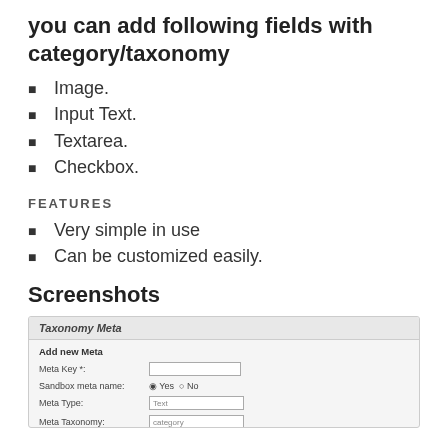you can add following fields with category/taxonomy
Image.
Input Text.
Textarea.
Checkbox.
FEATURES
Very simple in use
Can be customized easily.
Screenshots
[Figure (screenshot): Screenshot of Taxonomy Meta plugin admin interface showing Add new Meta form with fields: Meta Key, Sandbox meta name (Yes/No radio), Meta Type (Text), Meta Taxonomy (category), and Add Meta button.]